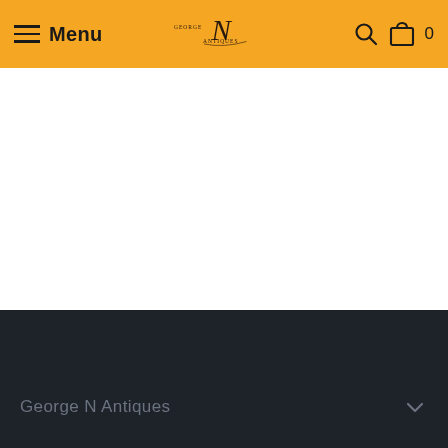Menu — George N Antiques — Search — Cart 0
[Figure (screenshot): Empty white content area of webpage]
George N Antiques